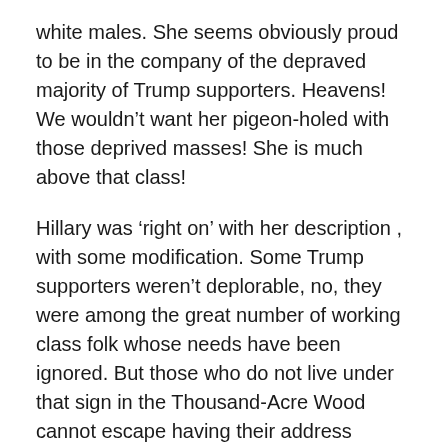white males. She seems obviously proud to be in the company of the depraved majority of Trump supporters. Heavens! We wouldn't want her pigeon-holed with those deprived masses! She is much above that class!
Hillary was ‘right on’ with her description , with some modification. Some Trump supporters weren’t deplorable, no, they were among the great number of working class folk whose needs have been ignored. But those who do not live under that sign in the Thousand-Acre Wood cannot escape having their address labelled ‘Deplorable and Depraved.’
With news reports that ‘White Power’ signs appearing in Junior High Schools and people with brown skins being pulled from cars and being assaulted, pundits are beginning to speak of Trump’s election encouraging such